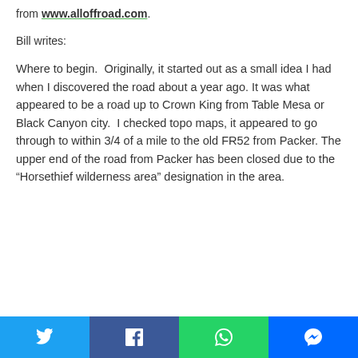from www.alloffroad.com.
Bill writes:
Where to begin.  Originally, it started out as a small idea I had when I discovered the road about a year ago. It was what appeared to be a road up to Crown King from Table Mesa or Black Canyon city.  I checked topo maps, it appeared to go through to within 3/4 of a mile to the old FR52 from Packer. The upper end of the road from Packer has been closed due to the “Horsethief wilderness area” designation in the area.
Social share bar: Twitter, Facebook, WhatsApp, Messenger